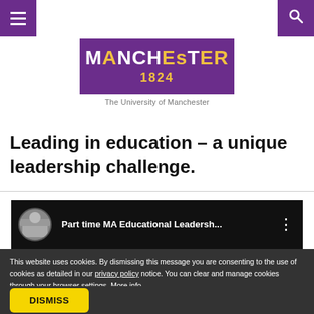University of Manchester website navigation bar with hamburger menu and search icon
[Figure (logo): University of Manchester logo: purple rectangle with MANCHESTER in white and gold, 1824 in gold, subtitle 'The University of Manchester' in grey below]
Leading in education – a unique leadership challenge.
[Figure (screenshot): YouTube video thumbnail showing Part time MA Educational Leadership... with channel avatar and three-dot menu on dark background]
This website uses cookies. By dismissing this message you are consenting to the use of cookies as detailed in our privacy policy notice. You can clear and manage cookies through your browser settings. More info
DISMISS